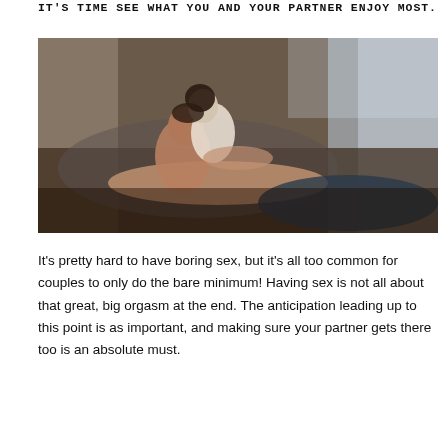IT'S TIME SEE WHAT YOU AND YOUR PARTNER ENJOY MOST.
[Figure (photo): A couple in an intimate embrace on a wooden floor in a bright room with white curtains and windows in the background. A man is lying back while a woman sits atop him, leaning in close.]
It's pretty hard to have boring sex, but it's all too common for couples to only do the bare minimum! Having sex is not all about that great, big orgasm at the end. The anticipation leading up to this point is as important, and making sure your partner gets there too is an absolute must.